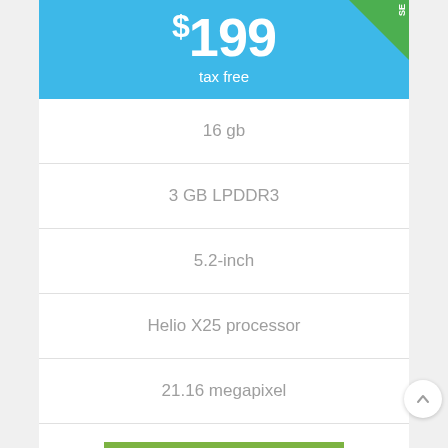$199 tax free
16 gb
3 GB LPDDR3
5.2-inch
Helio X25 processor
21.16 megapixel
BUY ON EBAY